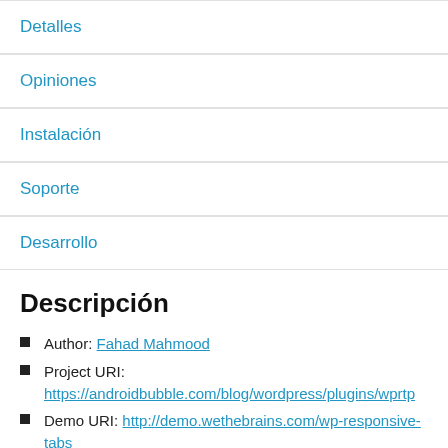Detalles
Opiniones
Instalación
Soporte
Desarrollo
Descripción
Author: Fahad Mahmood
Project URI: https://androidbubble.com/blog/wordpress/plugins/wprtp
Demo URI: http://demo.wethebrains.com/wp-responsive-tabs
License: GPL 2. See License below for copyright